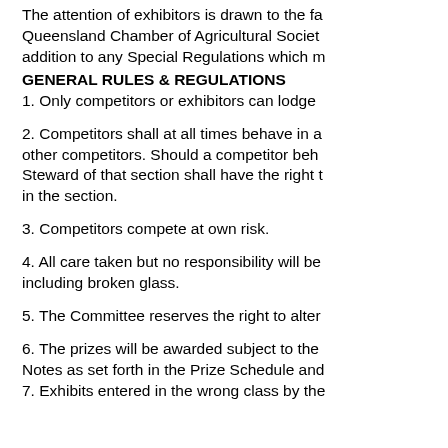The attention of exhibitors is drawn to the fa Queensland Chamber of Agricultural Societ addition to any Special Regulations which m
GENERAL RULES & REGULATIONS
1. Only competitors or exhibitors can lodge
2. Competitors shall at all times behave in a other competitors. Should a competitor beh Steward of that section shall have the right t in the section.
3. Competitors compete at own risk.
4. All care taken but no responsibility will be including broken glass.
5. The Committee reserves the right to alter
6. The prizes will be awarded subject to the Notes as set forth in the Prize Schedule and
7. Exhibits entered in the wrong class by the